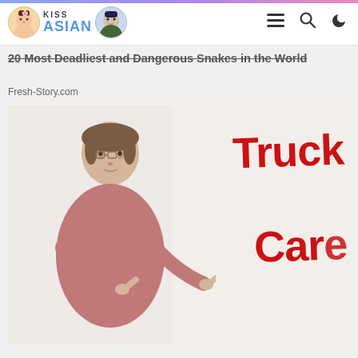KissAsian
20 Most Deadliest and Dangerous Snakes in the World
Fresh-Story.com
[Figure (photo): A young woman in a pink/mauve sweatshirt pointing to her left at red handwritten text reading 'Truck' and 'Care' (partially cut off) on a white background]